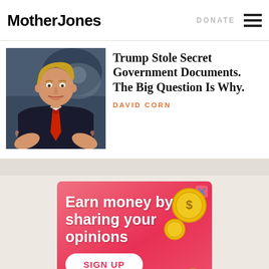Mother Jones | DONATE
Trump Stole Secret Government Documents. The Big Question Is Why.
DAVID CORN
[Figure (photo): Photo of Donald Trump gesturing with hands, wearing dark suit and red tie, seated in front of decorative background]
[Figure (infographic): Advertisement: pink/red background with gold coins and piggy bank. Text: Earn money by sharing your opinions. SIGN UP button.]